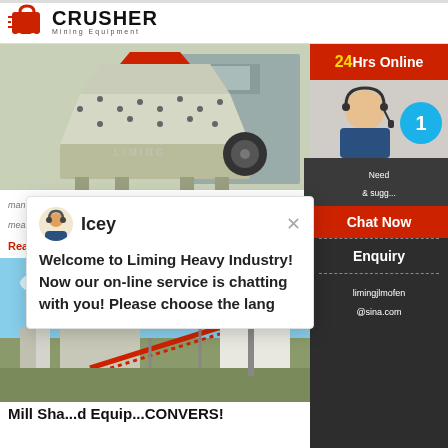CRUSHER Mining Equipment
[Figure (photo): Industrial crusher/impact mill machine in a factory setting, light green/cream colored heavy equipment]
manufacturer of crushing and mining equipment measurement in tube ball mill
Read More
[Figure (photo): Outdoor mining/milling facility with conveyors, silos, and industrial structures against a blue sky]
[Figure (other): Chat popup overlay from Liming Heavy Industry with avatar 'Icey' and message: Welcome to Liming Heavy Industry! Now our on-line service is chatting with you! Please choose the lang]
[Figure (other): Right sidebar: 24Hrs Online red banner, sidebar photo, chat circle with '1', Need & suggestions box, Chat Now button, Enquiry button, limingjlmofen@sina.com email]
Mill Cha...and Equip...CONVEYORS...